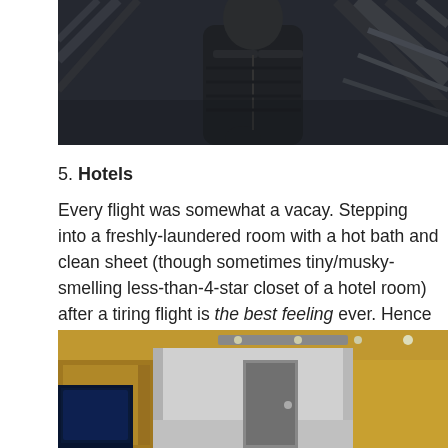[Figure (photo): Photo of a person in a dark puffer jacket standing in front of iron lattice structure (likely Eiffel Tower), viewed from below]
5. Hotels
Every flight was somewhat a vacay. Stepping into a freshly-laundered room with a hot bath and clean sheet (though sometimes tiny/musky-smelling less-than-4-star closet of a hotel room) after a tiring flight is the best feeling ever. Hence the perpetual reluctance to check out.
[Figure (photo): Interior photo of a hotel lobby or corridor with warm golden/brown walls, ceiling lights, a TV visible on the left, and a hallway extending into the background]